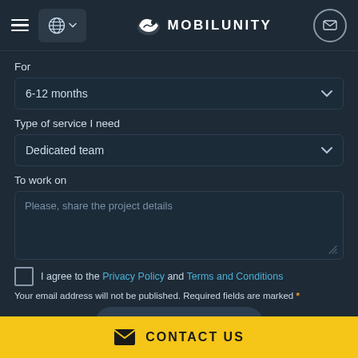MOBILUNITY - navigation bar with hamburger menu, globe language selector, logo, and mail button
For
6-12 months
Type of service I need
Dedicated team
To work on
Please, share the project details
I agree to the Privacy Policy and Terms and Conditions
Your email address will not be published. Required fields are marked *
SEND
CONTACT US